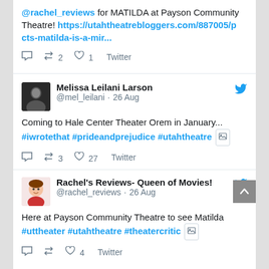@rachel_reviews for MATILDA at Payson Community Theatre! https://utahtheatrebloggers.com/887005/pcts-matilda-is-a-mir...
Retweet 2  Like 1  Twitter
Melissa Leilani Larson @mel_leilani · 26 Aug
Coming to Hale Center Theater Orem in January... #iwrotethat #prideandprejudice #utahtheatre [media icon]
Retweet 3  Like 27  Twitter
Rachel's Reviews- Queen of Movies! @rachel_reviews · 26 Aug
Here at Payson Community Theatre to see Matilda #uttheater #utahtheatre #theatercritic [media icon]
Retweet  Like 4  Twitter